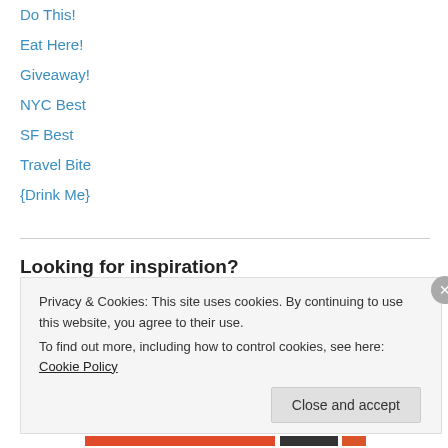Do This!
Eat Here!
Giveaway!
NYC Best
SF Best
Travel Bite
{Drink Me}
Looking for inspiration?
8.ate@eight   Appetizer   Barbecue   BBQ   Beer
Privacy & Cookies: This site uses cookies. By continuing to use this website, you agree to their use.
To find out more, including how to control cookies, see here: Cookie Policy
Close and accept